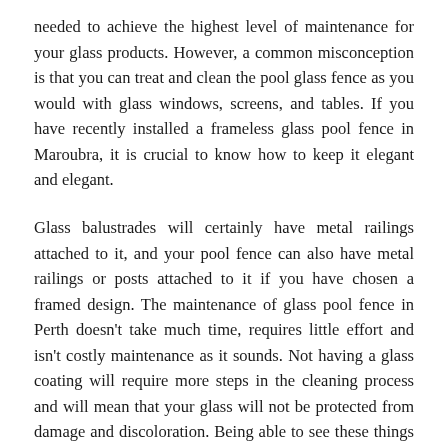needed to achieve the highest level of maintenance for your glass products. However, a common misconception is that you can treat and clean the pool glass fence as you would with glass windows, screens, and tables. If you have recently installed a frameless glass pool fence in Maroubra, it is crucial to know how to keep it elegant and elegant.
Glass balustrades will certainly have metal railings attached to it, and your pool fence can also have metal railings or posts attached to it if you have chosen a framed design. The maintenance of glass pool fence in Perth doesn't take much time, requires little effort and isn't costly maintenance as it sounds. Not having a glass coating will require more steps in the cleaning process and will mean that your glass will not be protected from damage and discoloration. Being able to see these things easily and easily through a transparent glass ensures the safety of your home and the people who live in and visit it.